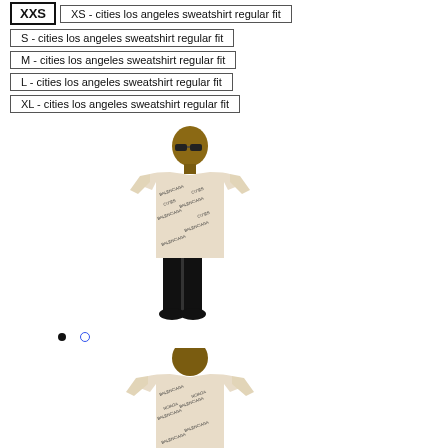XXS
XS - cities los angeles sweatshirt regular fit
S - cities los angeles sweatshirt regular fit
M - cities los angeles sweatshirt regular fit
L - cities los angeles sweatshirt regular fit
XL - cities los angeles sweatshirt regular fit
[Figure (photo): Front view of a male model wearing a cream/off-white Balenciaga logo-print oversized sweatshirt with black trousers and black sneakers]
[Figure (photo): Back view of a male model wearing a cream/off-white Balenciaga logo-print oversized sweatshirt]